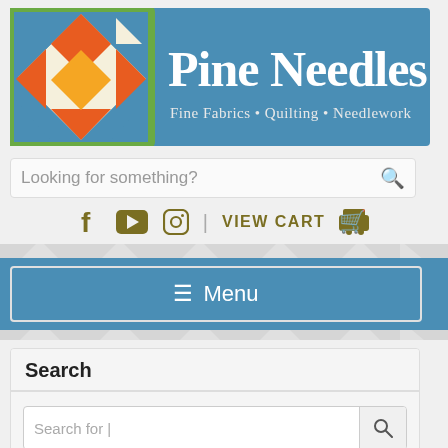[Figure (logo): Pine Needles logo banner with quilt block graphic on left and text 'Pine Needles Fine Fabrics • Quilting • Needlework' on blue background]
Looking for something?
f  ▶  ⊙  |  VIEW CART  🛒
☰ Menu
Search
Search for |